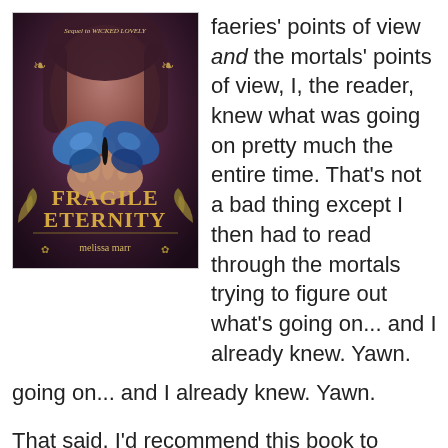[Figure (illustration): Book cover of 'Fragile Eternity' by Melissa Marr showing a blue butterfly held in a hand against a purple-toned background, with the text 'Sequel to Wicked Lovely' at the top.]
faeries' points of view and the mortals' points of view, I, the reader, knew what was going on pretty much the entire time. That's not a bad thing except I then had to read through the mortals trying to figure out what's going on... and I already knew. Yawn.
That said, I'd recommend this book to anyone looking for an enjoyable romance that doesn't have an airhead for a protagonist. I'm just finishing the sequel Fragile Eternity and will have a review up soon. In the mean time if you haven't started this series, I say go for it. This